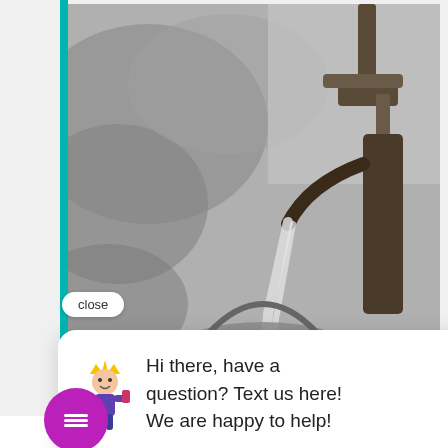[Figure (photo): Black and white photograph of an old hand water pump filling a metal bucket with water, outdoors with blurred foliage in background.]
close
Hi there, have a question? Text us here! We are happy to help!
e safe
earn More
[Figure (illustration): Purple circular chat button with white speech bubble icon with three lines (hamburger/menu icon inside).]